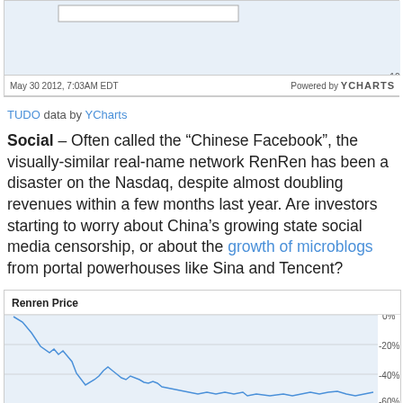[Figure (continuous-plot): Top chart fragment showing date axis (Sep 2011, Nov 2011, Jan 2012, Mar 2012, May 2012) and -100% y-axis label. Footer shows 'May 30 2012, 7:03AM EDT' and 'Powered by YCHARTS']
TUDO data by YCharts
Social – Often called the “Chinese Facebook”, the visually-similar real-name network RenRen has been a disaster on the Nasdaq, despite almost doubling revenues within a few months last year. Are investors starting to worry about China's growing state social media censorship, or about the growth of microblogs from portal powerhouses like Sina and Tencent?
[Figure (continuous-plot): Renren Price chart showing a declining line chart from 0% down to about -60%, with the line starting high on the left and trending steeply down then partially recovering before declining again. Y-axis shows 0%, -20%, -40%, -60%.]